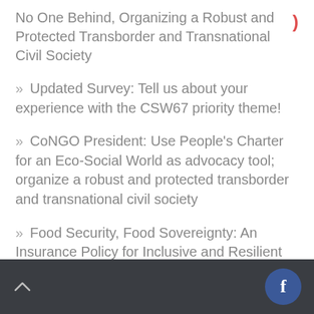No One Behind, Organizing a Robust and Protected Transborder and Transnational Civil Society
» Updated Survey: Tell us about your experience with the CSW67 priority theme!
» CoNGO President: Use People's Charter for an Eco-Social World as advocacy tool; organize a robust and protected transborder and transnational civil society
» Food Security, Food Sovereignty: An Insurance Policy for Inclusive and Resilient Recovery for Future Generations
^ [Facebook icon]